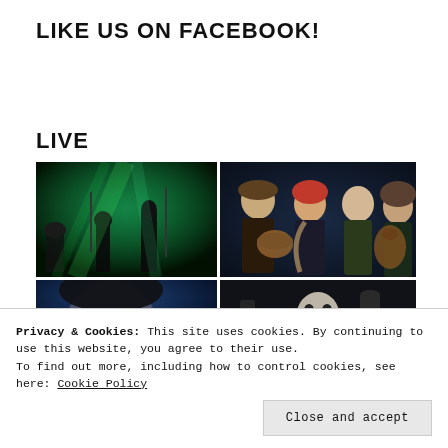LIKE US ON FACEBOOK!
LIVE
[Figure (photo): 2x2 grid of live music photos: top-left shows performers on stage with green lighting; top-right shows four musicians posing with folk instruments; bottom-left shows a close-up of a performer with blue lighting; bottom-right shows a masked performer in dark setting.]
Privacy & Cookies: This site uses cookies. By continuing to use this website, you agree to their use.
To find out more, including how to control cookies, see here: Cookie Policy